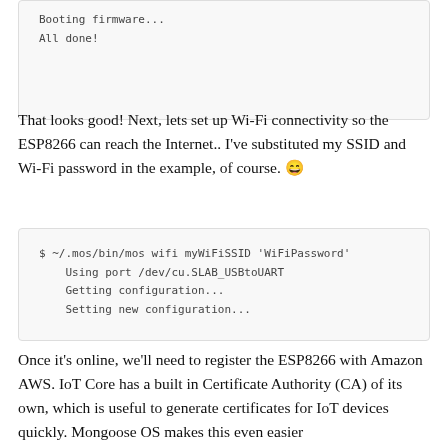[Figure (screenshot): Code block showing terminal output: Booting firmware... All done!]
That looks good! Next, lets set up Wi-Fi connectivity so the ESP8266 can reach the Internet.. I've substituted my SSID and Wi-Fi password in the example, of course. 😄
[Figure (screenshot): Code block showing: $ ~/.mos/bin/mos wifi myWiFiSSID 'WiFiPassword'
    Using port /dev/cu.SLAB_USBtoUART
    Getting configuration...
    Setting new configuration...]
Once it's online, we'll need to register the ESP8266 with Amazon AWS. IoT Core has a built in Certificate Authority (CA) of its own, which is useful to generate certificates for IoT devices quickly. Mongoose OS makes this even easier